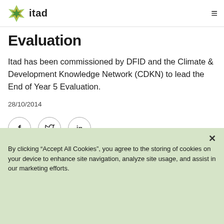itad
Evaluation
Itad has been commissioned by DFID and the Climate & Development Knowledge Network (CDKN) to lead the End of Year 5 Evaluation.
28/10/2014
[Figure (other): Social sharing icons: Facebook (f), Twitter (bird), LinkedIn (in) — each in a circle]
By clicking “Accept All Cookies”, you agree to the storing of cookies on your device to enhance site navigation, analyze site usage, and assist in our marketing efforts.